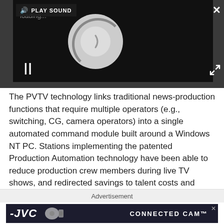[Figure (screenshot): Video player with dark background showing a loading spinner, pause button, PLAY SOUND label, close (X) button, and expand button]
The PVTV technology links traditional news-production functions that require multiple operators (e.g., switching, CG, camera operators) into a single automated command module built around a Windows NT PC. Stations implementing the patented Production Automation technology have been able to reduce production crew members during live TV shows, and redirected savings to talent costs and other functions.
Advertisement
[Figure (photo): JVC Connected Cam advertisement banner with JVC logo, camera images, and 'CONNECTED CAM' text on dark background]